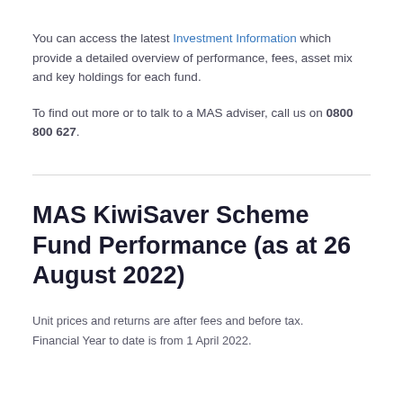You can access the latest Investment Information which provide a detailed overview of performance, fees, asset mix and key holdings for each fund.
To find out more or to talk to a MAS adviser, call us on 0800 800 627.
MAS KiwiSaver Scheme Fund Performance (as at 26 August 2022)
Unit prices and returns are after fees and before tax. Financial Year to date is from 1 April 2022.